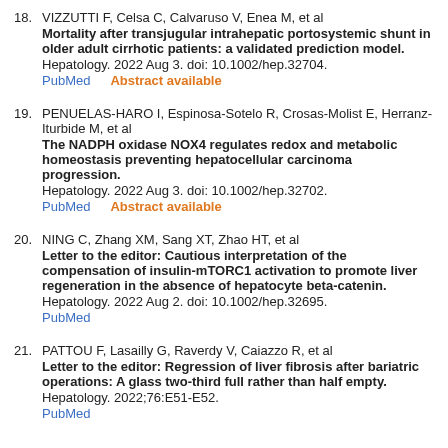18. VIZZUTTI F, Celsa C, Calvaruso V, Enea M, et al Mortality after transjugular intrahepatic portosystemic shunt in older adult cirrhotic patients: a validated prediction model. Hepatology. 2022 Aug 3. doi: 10.1002/hep.32704. PubMed   Abstract available
19. PENUELAS-HARO I, Espinosa-Sotelo R, Crosas-Molist E, Herranz-Iturbide M, et al The NADPH oxidase NOX4 regulates redox and metabolic homeostasis preventing hepatocellular carcinoma progression. Hepatology. 2022 Aug 3. doi: 10.1002/hep.32702. PubMed   Abstract available
20. NING C, Zhang XM, Sang XT, Zhao HT, et al Letter to the editor: Cautious interpretation of the compensation of insulin-mTORC1 activation to promote liver regeneration in the absence of hepatocyte beta-catenin. Hepatology. 2022 Aug 2. doi: 10.1002/hep.32695. PubMed
21. PATTOU F, Lasailly G, Raverdy V, Caiazzo R, et al Letter to the editor: Regression of liver fibrosis after bariatric operations: A glass two-third full rather than half empty. Hepatology. 2022;76:E51-E52. PubMed